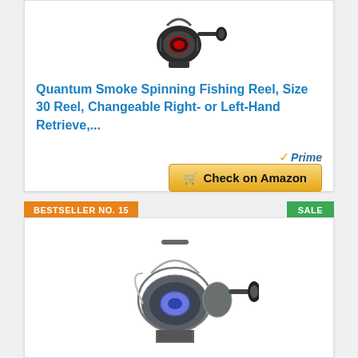[Figure (photo): Quantum Smoke spinning fishing reel product photo, top portion of card]
Quantum Smoke Spinning Fishing Reel, Size 30 Reel, Changeable Right- or Left-Hand Retrieve,...
Prime
Check on Amazon
BESTSELLER NO. 15
SALE
[Figure (photo): Spinning fishing reel product photo for bestseller no. 15]